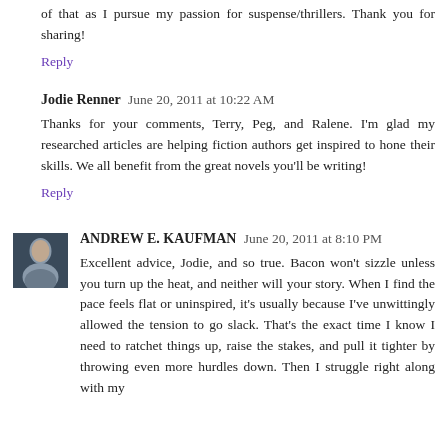of that as I pursue my passion for suspense/thrillers. Thank you for sharing!
Reply
Jodie Renner  June 20, 2011 at 10:22 AM
Thanks for your comments, Terry, Peg, and Ralene. I'm glad my researched articles are helping fiction authors get inspired to hone their skills. We all benefit from the great novels you'll be writing!
Reply
ANDREW E. KAUFMAN  June 20, 2011 at 8:10 PM
Excellent advice, Jodie, and so true. Bacon won't sizzle unless you turn up the heat, and neither will your story. When I find the pace feels flat or uninspired, it's usually because I've unwittingly allowed the tension to go slack. That's the exact time I know I need to ratchet things up, raise the stakes, and pull it tighter by throwing even more hurdles down. Then I struggle right along with my